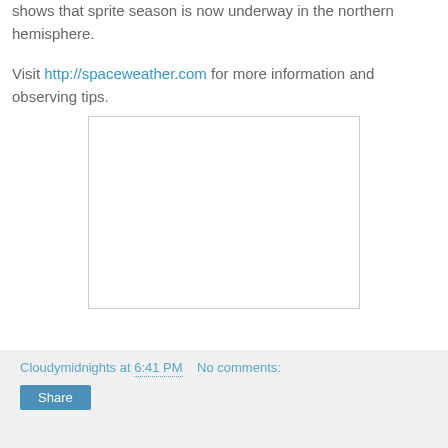shows that sprite season is now underway in the northern hemisphere.
Visit http://spaceweather.com for more information and observing tips.
[Figure (photo): White blank image placeholder with a light gray border]
Cloudymidnights at 6:41 PM   No comments:   Share